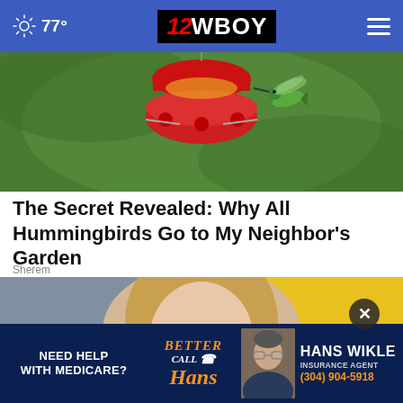77° | 12WBOY
[Figure (photo): Hummingbird hovering near a red feeder against green background]
The Secret Revealed: Why All Hummingbirds Go to My Neighbor's Garden
Sherem
[Figure (photo): Smiling blonde woman holding small objects in both hands, yellow background]
[Figure (photo): Advertisement: Need Help With Medicare? Better Call Hans. Hans Wikle Insurance Agent (304) 904-5918]